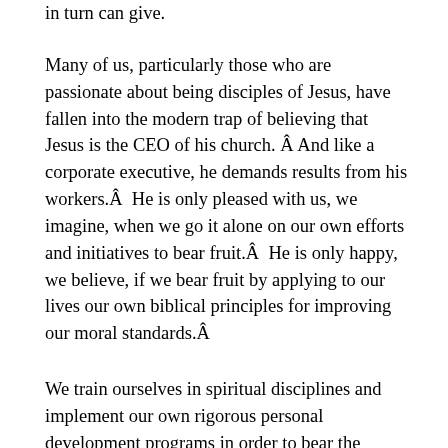in turn can give.
Many of us, particularly those who are passionate about being disciples of Jesus, have fallen into the modern trap of believing that Jesus is the CEO of his church. Â And like a corporate executive, he demands results from his workers.Â  He is only pleased with us, we imagine, when we go it alone on our own efforts and initiatives to bear fruit.Â  He is only happy, we believe, if we bear fruit by applying to our lives our own biblical principles for improving our moral standards.Â
We train ourselves in spiritual disciplines and implement our own rigorous personal development programs in order to bear the